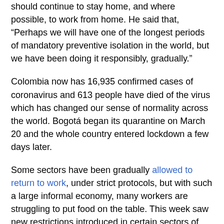should continue to stay home, and where possible, to work from home. He said that, “Perhaps we will have one of the longest periods of mandatory preventive isolation in the world, but we have been doing it responsibly, gradually.”
Colombia now has 16,935 confirmed cases of coronavirus and 613 people have died of the virus which has changed our sense of normality across the world. Bogotá began its quarantine on March 20 and the whole country entered lockdown a few days later.
Some sectors have been gradually allowed to return to work, under strict protocols, but with such a large informal economy, many workers are struggling to put food on the table. This week saw new restrictions introduced in certain sectors of Bogotá where an ‘orange alert’ was declared and residents were told to stay at home.